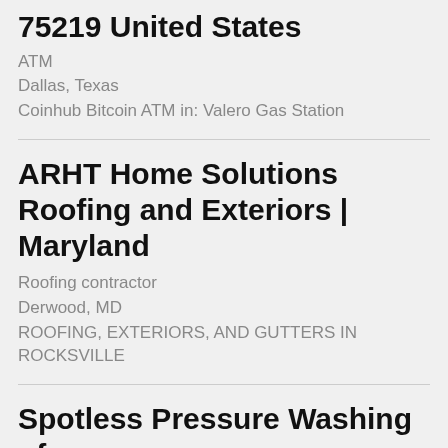75219 United States
ATM
Dallas, Texas
Coinhub Bitcoin ATM in: Valero Gas Station
ARHT Home Solutions Roofing and Exteriors | Maryland
Roofing contractor
Derwood, MD
ROOFING, EXTERIORS, AND GUTTERS IN ROCKSVILLE
Spotless Pressure Washing of